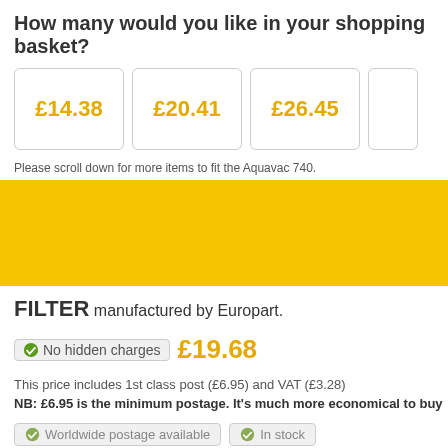How many would you like in your shopping basket?
[Figure (other): Three price buttons showing £14.38, £20.41, £26.45 in orange on white rounded rectangles, plus a partial fourth]
Please scroll down for more items to fit the Aquavac 740.
FILTER manufactured by Europart.
No hidden charges   £19.68
This price includes 1st class post (£6.95) and VAT (£3.28)
NB: £6.95 is the minimum postage. It's much more economical to buy
Worldwide postage available   In stock
Orders are posted within 24 hours every working day.   UK orders usually a
How many would you like in your shopping basket?
[Figure (other): Three price buttons showing £19.68, £31.02, £46.02 in orange on white rounded rectangles, plus a partial fourth]